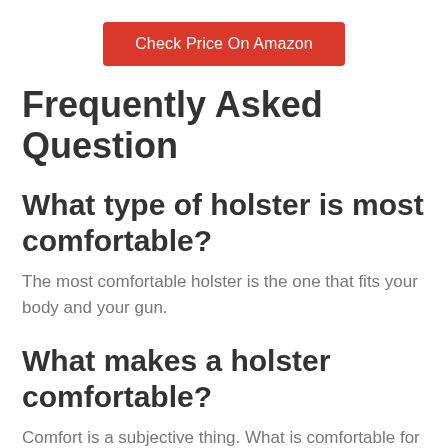[Figure (other): Red button labeled 'Check Price On Amazon']
Frequently Asked Question
What type of holster is most comfortable?
The most comfortable holster is the one that fits your body and your gun.
What makes a holster comfortable?
Comfort is a subjective thing. What is comfortable for one person may not be comfortable for another. The most